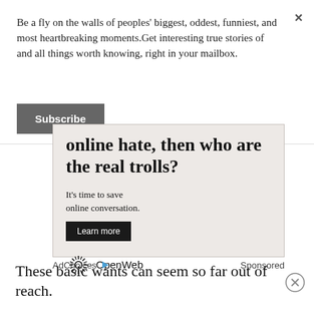Be a fly on the walls of peoples' biggest, oddest, funniest, and most heartbreaking moments.Get interesting true stories of and all things worth knowing, right in your mailbox.
Subscribe
[Figure (infographic): Advertisement with light beige background. Large bold text reads 'online hate, then who are the real trolls?' followed by smaller text 'It's time to save online conversation.' with a 'Learn more' button and OpenWeb logo.]
AdChoices  Sponsored
These basic wants can seem so far out of reach.